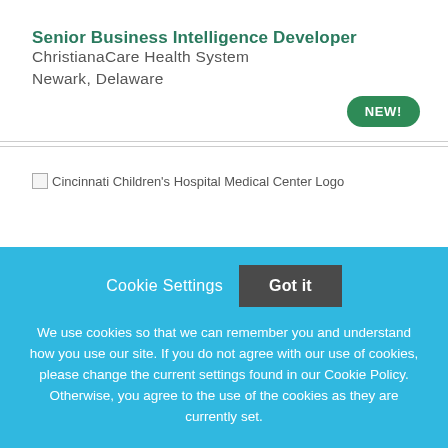Senior Business Intelligence Developer
ChristianaCare Health System
Newark, Delaware
[Figure (other): NEW! badge - green rounded pill button]
[Figure (logo): Cincinnati Children's Hospital Medical Center Logo placeholder image]
Cookie Settings  Got it

We use cookies so that we can remember you and understand how you use our site. If you do not agree with our use of cookies, please change the current settings found in our Cookie Policy. Otherwise, you agree to the use of the cookies as they are currently set.